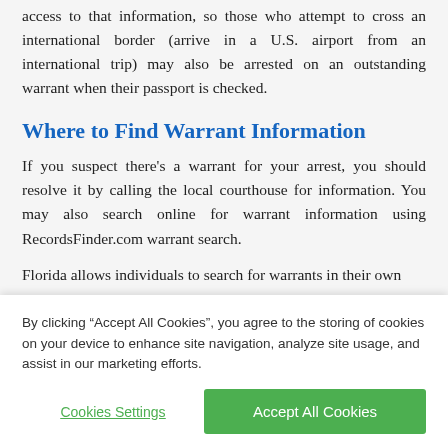access to that information, so those who attempt to cross an international border (arrive in a U.S. airport from an international trip) may also be arrested on an outstanding warrant when their passport is checked.
Where to Find Warrant Information
If you suspect there's a warrant for your arrest, you should resolve it by calling the local courthouse for information. You may also search online for warrant information using RecordsFinder.com warrant search.
Florida allows individuals to search for warrants in their own
By clicking “Accept All Cookies”, you agree to the storing of cookies on your device to enhance site navigation, analyze site usage, and assist in our marketing efforts.